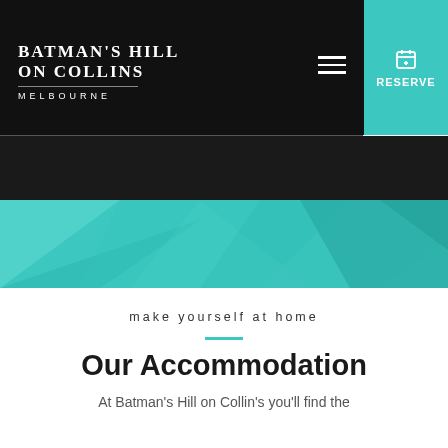BATMAN'S HILL ON COLLINS MELBOURNE — Navigation with RESERVE button
[Figure (illustration): Teal geometric polygon hero banner with overlapping triangular shapes in various shades of teal and mint]
make yourself at home
Our Accommodation
At Batman's Hill on Collin's you'll find the